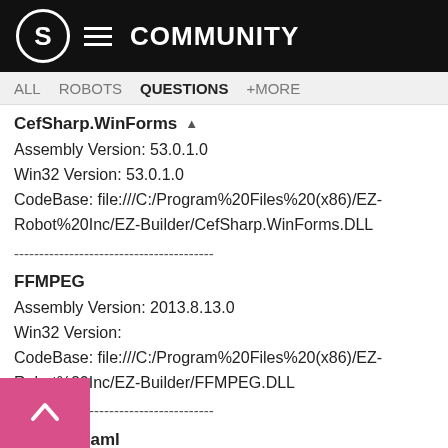S COMMUNITY
ALL  ROBOTS  QUESTIONS  +MORE
CefSharp.WinForms ▲
Assembly Version: 53.0.1.0
Win32 Version: 53.0.1.0
CodeBase: file:///C:/Program%20Files%20(x86)/EZ-Robot%20Inc/EZ-Builder/CefSharp.WinForms.DLL
----------------------------------------
FFMPEG
Assembly Version: 2013.8.13.0
Win32 Version:
CodeBase: file:///C:/Program%20Files%20(x86)/EZ-Robot%20Inc/EZ-Builder/FFMPEG.DLL
----------------------------------------
System.Xaml
Assembly Version: 4.0.0.0
Win32 Version: 4.6.1586.0 built by: NETFXREL2
CodeBase: